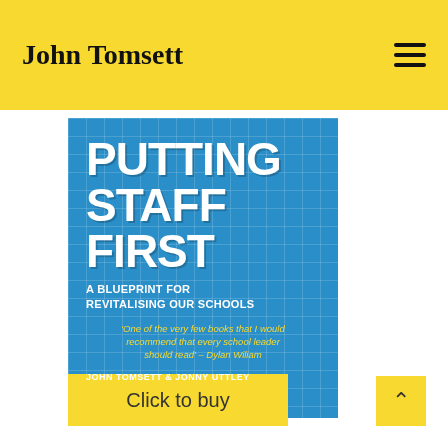John Tomsett
[Figure (illustration): Book cover for 'Putting Staff First: A Blueprint for Revitalising Our Schools' by John Tomsett & Jonny Uttley. Blue background with blueprint grid, white bold title text, yellow quote from Dylan Wiliam.]
Click to buy